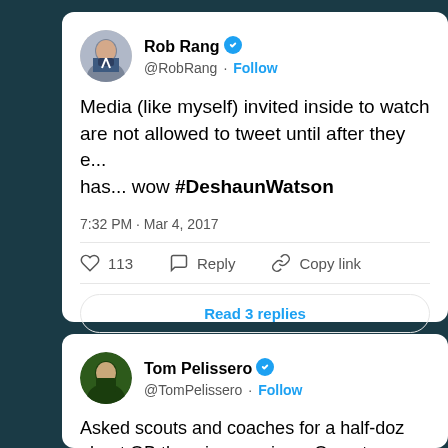[Figure (screenshot): Twitter/X tweet by Rob Rang (@RobRang) with verified badge. Tweet text: 'Media (like myself) invited inside to watch are not allowed to tweet until after they e... has... wow #DeshaunWatson'. Time: 7:32 PM · Mar 4, 2017. 113 likes. Reply and Copy link options. Read 3 replies button.]
[Figure (screenshot): Twitter/X tweet by Tom Pelissero (@TomPelissero) with verified badge. Tweet text: 'Asked scouts and coaches for a half-doz about QB throwing sessions. One strong... Clemson's Deshaun Watson won this day...']